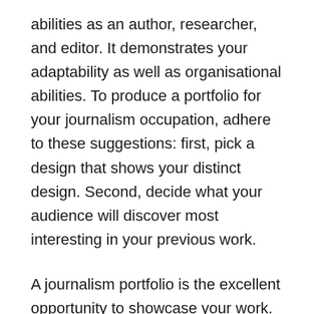abilities as an author, researcher, and editor. It demonstrates your adaptability as well as organisational abilities. To produce a portfolio for your journalism occupation, adhere to these suggestions: first, pick a design that shows your distinct design. Second, decide what your audience will discover most interesting in your previous work.
A journalism portfolio is the excellent opportunity to showcase your work. A good web site will certainly have samples of your best work and a checklist of magazines you have created for. If you have not released any type of posts yet, compose them for your brand-new site. Make sure that they're correctly formatted and free of errors. Furthermore,